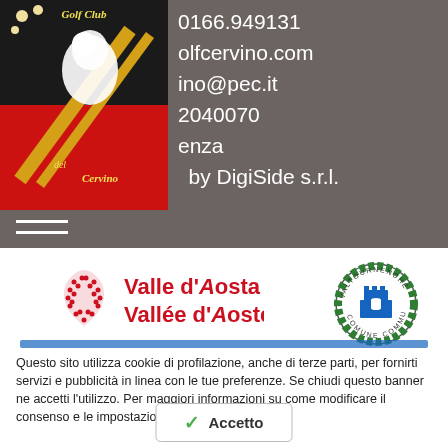[Figure (logo): Golf Club del Cervino shield logo - black and red heraldic shield with white lion and golf clubs, text 'Golf Club del Cervino']
0166.949131
olfcervino.com
ino@pec.it
2040070
enza
- by DigiSide s.r.l.
[Figure (logo): Valle d'Aosta / Vallée d'Aoste regional logo with red heart/diamond shape and red text]
[Figure (logo): Valtournenche Comune/Commune circular seal/emblem]
Questo sito utilizza cookie di profilazione, anche di terze parti, per fornirti servizi e pubblicità in linea con le tue preferenze. Se chiudi questo banner ne accetti l'utilizzo. Per maggiori informazioni su come modificare il consenso e le impostazioni dei browser supportati
Accetto